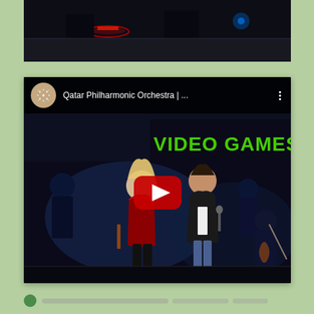[Figure (screenshot): Top portion of a video embed showing a dark concert/performance scene with red and blue glow lights on a stage]
[Figure (screenshot): YouTube embedded video player showing Qatar Philharmonic Orchestra concert with 'VIDEO GAMES L...' text on screen. Shows performers on stage including a woman in red and a man in black leather jacket with an orchestra behind them. A red YouTube play button is centered on the thumbnail.]